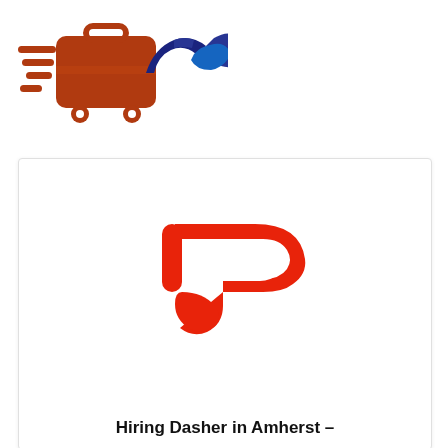[Figure (logo): Job board site logo: orange briefcase with speed lines on wheels and dark blue handshake icon overlapping it]
[Figure (logo): DoorDash logo: red stylized D/dash chevron shape on white background inside a card]
Hiring Dasher in Amherst –